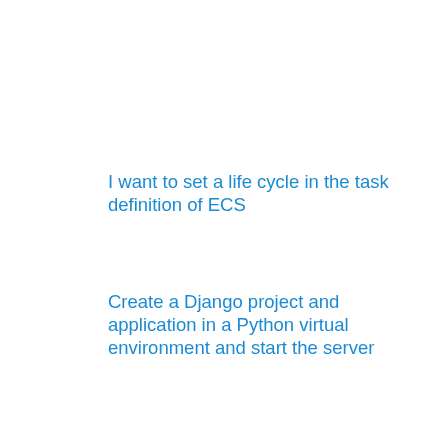I want to set a life cycle in the task definition of ECS
Create a Django project and application in a Python virtual environment and start the server
On Linux (Ubuntu), tune the Trackpad and set the function to a three-finger swipe
Instructions for connecting Google Colab. To the local runtime in a Windows environment
A tool to insert the country